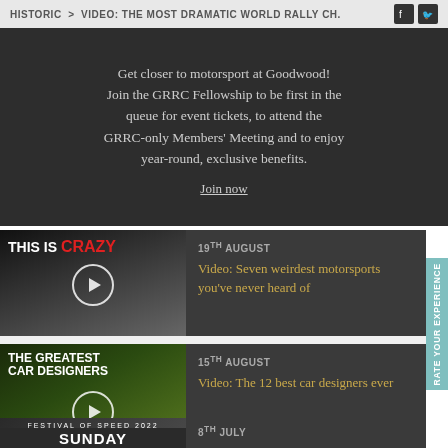HISTORIC > VIDEO: THE MOST DRAMATIC WORLD RALLY CH.
Get closer to motorsport at Goodwood! Join the GRRC Fellowship to be first in the queue for event tickets, to attend the GRRC-only Members' Meeting and to enjoy year-round, exclusive benefits.
Join now
[Figure (photo): Video thumbnail: THIS IS CRAZY text with race cars]
19th AUGUST
Video: Seven weirdest motorsports you've never heard of
[Figure (photo): Video thumbnail: THE GREATEST CAR DESIGNERS with yellow sports car]
15th AUGUST
Video: The 12 best car designers ever
[Figure (photo): Video thumbnail: FESTIVAL OF SPEED 2022 SUNDAY]
8th JULY